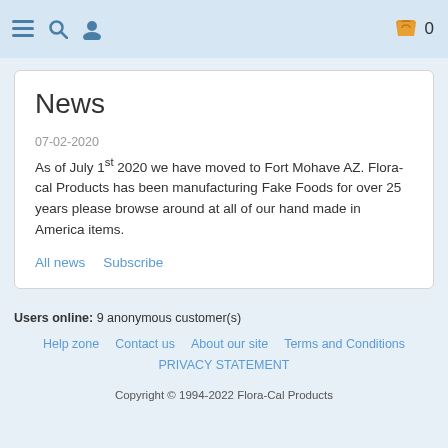Navigation bar with menu, search, user icons and shopping cart (0 items)
News
07-02-2020
As of July 1st 2020 we have moved to Fort Mohave AZ. Flora-cal Products has been manufacturing Fake Foods for over 25 years please browse around at all of our hand made in America items.
All news
Subscribe
Users online:  9 anonymous customer(s)
Help zone  Contact us  About our site  Terms and Conditions  PRIVACY STATEMENT  Copyright © 1994-2022 Flora-Cal Products